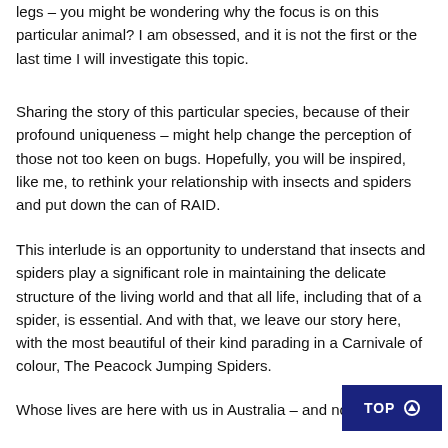legs – you might be wondering why the focus is on this particular animal? I am obsessed, and it is not the first or the last time I will investigate this topic.
Sharing the story of this particular species, because of their profound uniqueness – might help change the perception of those not too keen on bugs. Hopefully, you will be inspired, like me, to rethink your relationship with insects and spiders and put down the can of RAID.
This interlude is an opportunity to understand that insects and spiders play a significant role in maintaining the delicate structure of the living world and that all life, including that of a spider, is essential. And with that, we leave our story here, with the most beautiful of their kind parading in a Carnivale of colour, The Peacock Jumping Spiders.
Whose lives are here with us in Australia – and nowhe